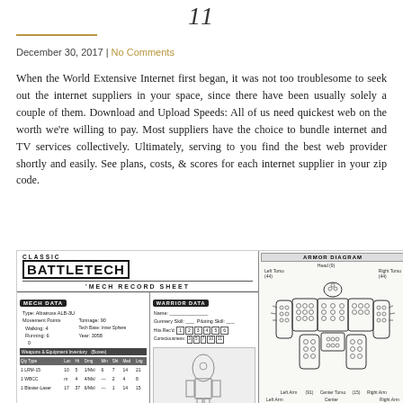11
December 30, 2017 | No Comments
When the World Extensive Internet first began, it was not too troublesome to seek out the internet suppliers in your space, since there have been usually solely a couple of them. Download and Upload Speeds: All of us need quickest web on the worth we’re willing to pay. Most suppliers have the choice to bundle internet and TV services collectively. Ultimately, serving to you find the best web provider shortly and easily. See plans, costs, & scores for each internet supplier in your zip code.
[Figure (illustration): Classic BattleTech Mech Record Sheet showing mech data for Albatross ALB-3U and an armor diagram of a mech figure on the right side]